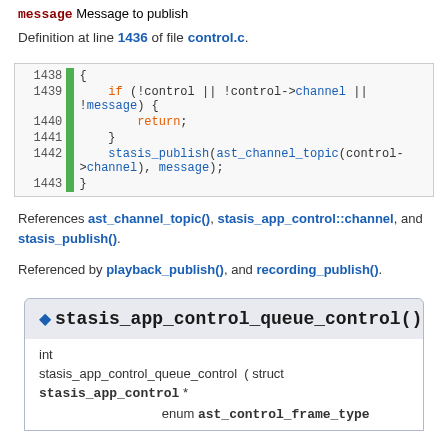message Message to publish
Definition at line 1436 of file control.c.
[Figure (screenshot): Code block showing lines 1438-1443 of control.c with syntax highlighting: if (!control || !control->channel || !message) { return; } stasis_publish(ast_channel_topic(control->channel), message); }]
References ast_channel_topic(), stasis_app_control::channel, and stasis_publish().
Referenced by playback_publish(), and recording_publish().
stasis_app_control_queue_control()
int stasis_app_control_queue_control ( struct stasis_app_control * enum ast_control_frame_type